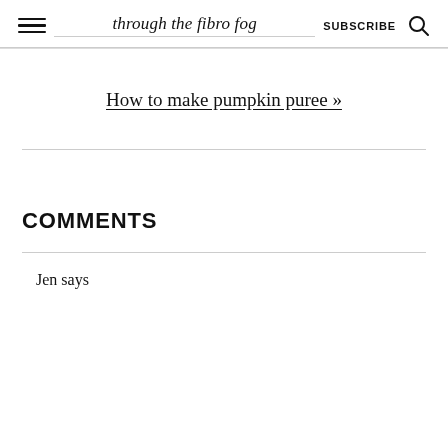through the fibro fog | SUBSCRIBE
How to make pumpkin puree »
COMMENTS
Jen says